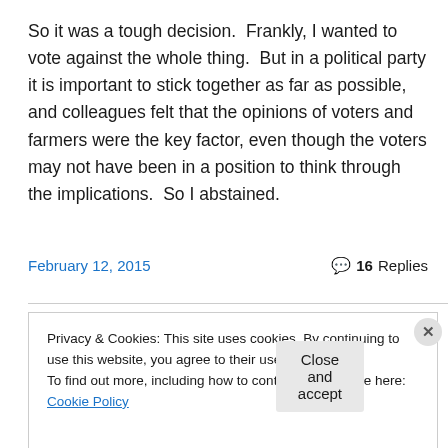So it was a tough decision.  Frankly, I wanted to vote against the whole thing.  But in a political party it is important to stick together as far as possible, and colleagues felt that the opinions of voters and farmers were the key factor, even though the voters may not have been in a position to think through the implications.  So I abstained.
February 12, 2015
16 Replies
Privacy & Cookies: This site uses cookies. By continuing to use this website, you agree to their use.
To find out more, including how to control cookies, see here: Cookie Policy
Close and accept